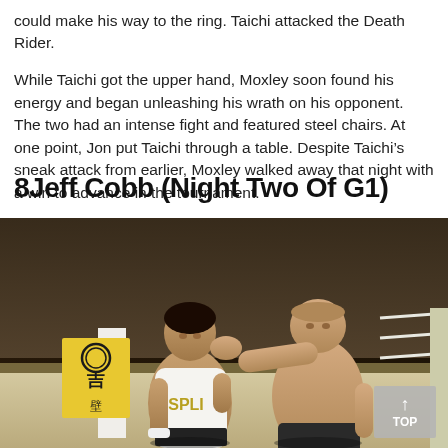could make his way to the ring. Taichi attacked the Death Rider.
While Taichi got the upper hand, Moxley soon found his energy and began unleashing his wrath on his opponent. The two had an intense fight and featured steel chairs. At one point, Jon put Taichi through a table. Despite Taichi’s sneak attack from earlier, Moxley walked away that night with a win to advance in the tournament.
8Jeff Cobb (Night Two Of G1)
[Figure (photo): Two large wrestlers facing each other in a wrestling ring. One in a white singlet with 'SPLI' visible, the other shirtless reaching toward the first man's neck. A NJPW banner with Japanese characters is visible ringside.]